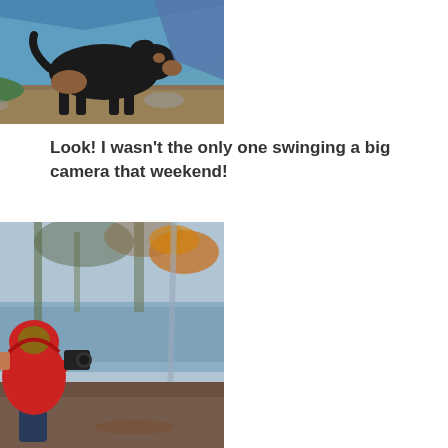[Figure (photo): A black and tan dog standing near a blue tent with a green sleeping bag on the ground outdoors. A watermark reads 'Barbarahasline' in the bottom left corner.]
Look! I wasn't the only one swinging a big camera that weekend!
[Figure (photo): A person wearing a red hoodie photographing with a large camera near a river or creek surrounded by bare trees with some orange leaves.]